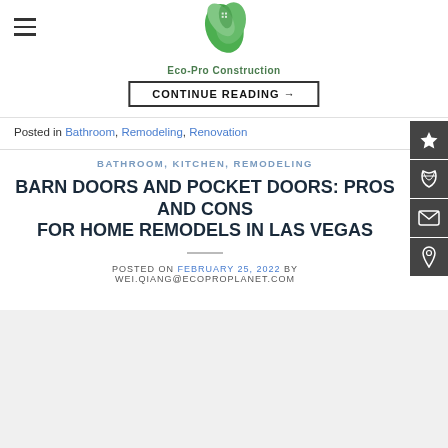Eco-Pro Construction
CONTINUE READING →
Posted in Bathroom, Remodeling, Renovation
BATHROOM, KITCHEN, REMODELING
BARN DOORS AND POCKET DOORS: PROS AND CONS FOR HOME REMODELS IN LAS VEGAS
POSTED ON FEBRUARY 25, 2022 BY WEI.QIANG@ECOPROPLANET.COM
[Figure (other): Date badge showing 25 Feb with a green phone call button overlay, on a grey image placeholder background]